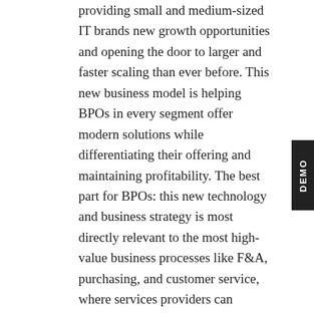providing small and medium-sized IT brands new growth opportunities and opening the door to larger and faster scaling than ever before. This new business model is helping BPOs in every segment offer modern solutions while differentiating their offering and maintaining profitability. The best part for BPOs: this new technology and business strategy is most directly relevant to the most high-value business processes like F&A, purchasing, and customer service, where services providers can integrate digital technologies.
How To Make Automation The New Profit Center
Staying relevant to prospects and current customers can be challenging for BPOs in our constantly changing digital world. Balancing new automation and bottom line business goals is a constantly shifting task for BPO business leaders. Find out how modern outsourcers are striking the perfect balance